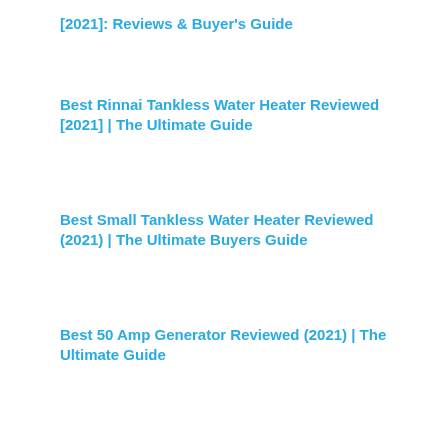[2021]: Reviews & Buyer's Guide
Best Rinnai Tankless Water Heater Reviewed [2021] | The Ultimate Guide
Best Small Tankless Water Heater Reviewed (2021) | The Ultimate Buyers Guide
Best 50 Amp Generator Reviewed (2021) | The Ultimate Guide